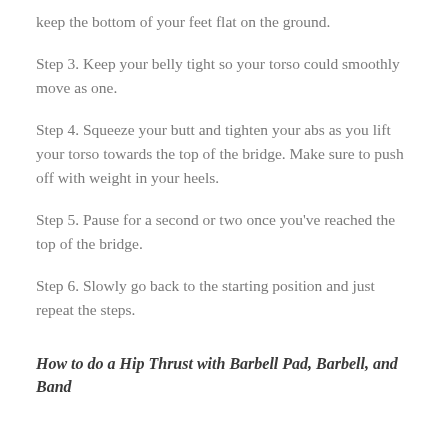keep the bottom of your feet flat on the ground.
Step 3. Keep your belly tight so your torso could smoothly move as one.
Step 4. Squeeze your butt and tighten your abs as you lift your torso towards the top of the bridge. Make sure to push off with weight in your heels.
Step 5. Pause for a second or two once you've reached the top of the bridge.
Step 6. Slowly go back to the starting position and just repeat the steps.
How to do a Hip Thrust with Barbell Pad, Barbell, and Band